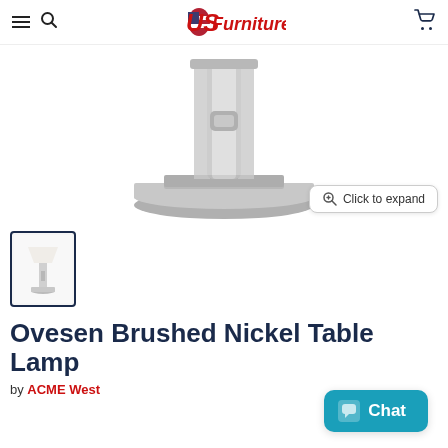US Furniture — navigation header with hamburger menu, search icon, logo, and cart icon
[Figure (photo): Close-up photo of the base of a brushed nickel table lamp showing cylindrical column and round base with metallic finish]
[Figure (photo): Thumbnail of Ovesen Brushed Nickel Table Lamp showing full lamp with white shade and nickel column base]
Ovesen Brushed Nickel Table Lamp
by ACME West